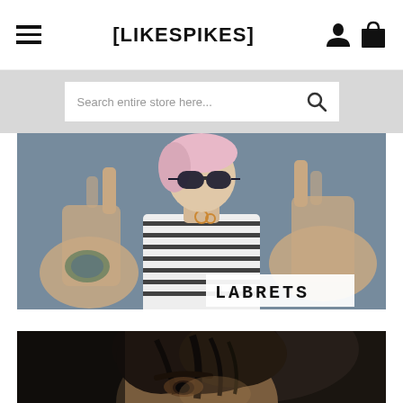[LIKESPIKES]
Search entire store here...
[Figure (photo): Woman with pink hair and sunglasses making rock gestures with both hands, wearing striped shirt with visible tattoos, against a blue-grey wall. Overlay label reads 'LABRETS'.]
[Figure (photo): Close-up portrait of a person with dark hair, dark eyebrows, partially lit face against dark background.]